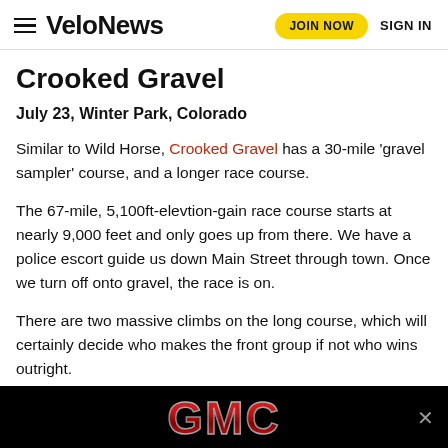VeloNews — JOIN NOW   SIGN IN
Crooked Gravel
July 23, Winter Park, Colorado
Similar to Wild Horse, Crooked Gravel has a 30-mile ‘gravel sampler’ course, and a longer race course.
The 67-mile, 5,100ft-elevtion-gain race course starts at nearly 9,000 feet and only goes up from there. We have a police escort guide us down Main Street through town. Once we turn off onto gravel, the race is on.
There are two massive climbs on the long course, which will certainly decide who makes the front group if not who wins outright.
[Figure (logo): GMC advertisement banner with red GMC logo on black background]